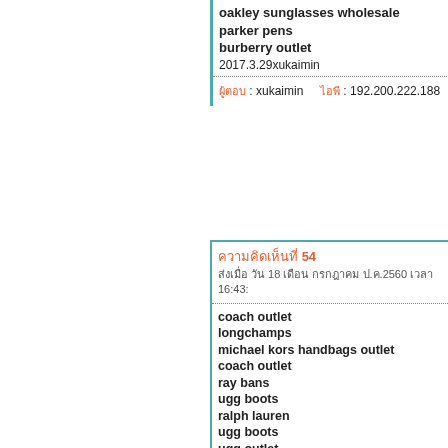oakley sunglasses wholesale
parker pens
burberry outlet
2017.3.29xukaimin
ผู้ตอบ : xukaimin    ไอพี : 192.200.222.188
ความคิดเห็นที่ 54
ส่งเมื่อ วัน 18 เดือน กรกฎาคม ป.ค.2560 เวลา 16:43:
coach outlet
longchamps
michael kors handbags outlet
coach outlet
ray bans
ugg boots
ralph lauren
ugg boots
ugg outlet
ugg boots
san francisco 49ers jerseys
oakley sunglasses
nike huarache
ugg outlet
raiders jerseys
michael kors handbags
michael kors handbags
gucci sito ufficiale
atlanta falcons jersey
boston celtics jersey